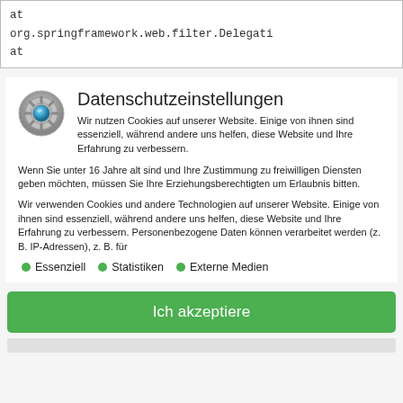at
org.springframework.web.filter.Delegati
at
Datenschutzeinstellungen
Wir nutzen Cookies auf unserer Website. Einige von ihnen sind essenziell, während andere uns helfen, diese Website und Ihre Erfahrung zu verbessern.
Wenn Sie unter 16 Jahre alt sind und Ihre Zustimmung zu freiwilligen Diensten geben möchten, müssen Sie Ihre Erziehungsberechtigten um Erlaubnis bitten.
Wir verwenden Cookies und andere Technologien auf unserer Website. Einige von ihnen sind essenziell, während andere uns helfen, diese Website und Ihre Erfahrung zu verbessern. Personenbezogene Daten können verarbeitet werden (z. B. IP-Adressen), z. B. für
Essenziell
Statistiken
Externe Medien
Ich akzeptiere